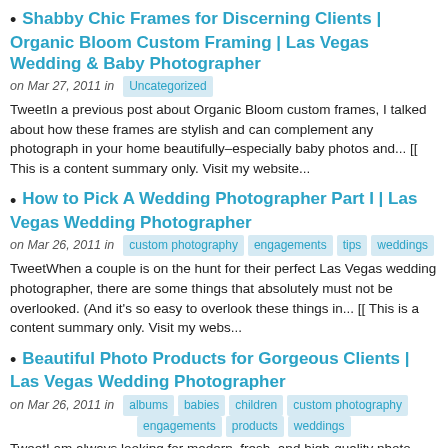Shabby Chic Frames for Discerning Clients | Organic Bloom Custom Framing | Las Vegas Wedding & Baby Photographer
on Mar 27, 2011 in  Uncategorized
TweetIn a previous post about Organic Bloom custom frames, I talked about how these frames are stylish and can complement any photograph in your home beautifully–especially baby photos and... [[ This is a content summary only. Visit my website...
How to Pick A Wedding Photographer Part I | Las Vegas Wedding Photographer
on Mar 26, 2011 in  custom photography  engagements  tips  weddings
TweetWhen a couple is on the hunt for their perfect Las Vegas wedding photographer, there are some things that absolutely must not be overlooked. (And it's so easy to overlook these things in... [[ This is a content summary only. Visit my webs...
Beautiful Photo Products for Gorgeous Clients | Las Vegas Wedding Photographer
on Mar 26, 2011 in  albums  babies  children  custom photography  engagements  products  weddings
TweetI am always looking for modern, fresh, and high-quality photo products to offer my clients. Sometimes, though, the products clients want might be out of their budgets. Fortunately, I met the... [[ This is a content summary only. Visit my websit...
Baby & Children's Photographer in Las Vegas | A Session with Babies G & G